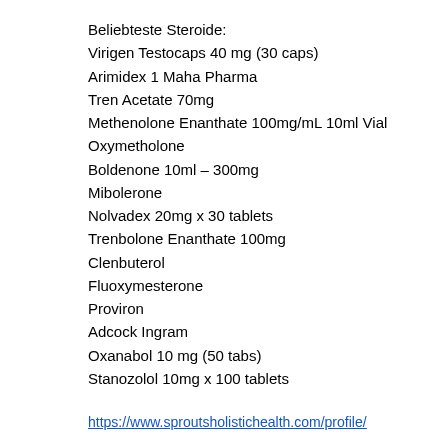Beliebteste Steroide:
Virigen Testocaps 40 mg (30 caps)
Arimidex 1 Maha Pharma
Tren Acetate 70mg
Methenolone Enanthate 100mg/mL 10ml Vial
Oxymetholone
Boldenone 10ml – 300mg
Mibolerone
Nolvadex 20mg x 30 tablets
Trenbolone Enanthate 100mg
Clenbuterol
Fluoxymesterone
Proviron
Adcock Ingram
Oxanabol 10 mg (50 tabs)
Stanozolol 10mg x 100 tablets
https://www.sproutsholistichealth.com/profile/